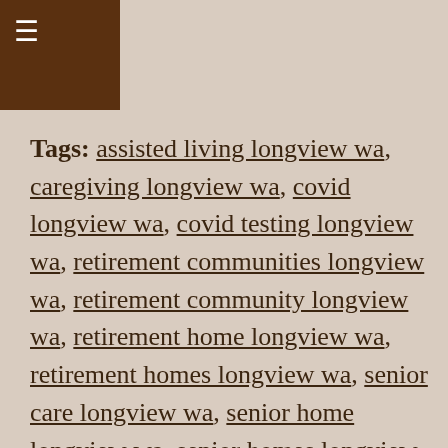≡
Tags: assisted living longview wa, caregiving longview wa, covid longview wa, covid testing longview wa, retirement communities longview wa, retirement community longview wa, retirement home longview wa, retirement homes longview wa, senior care longview wa, senior home longview wa, senior homes longview wa, senior living longview wa, senior news longview wa, somerset longview wa